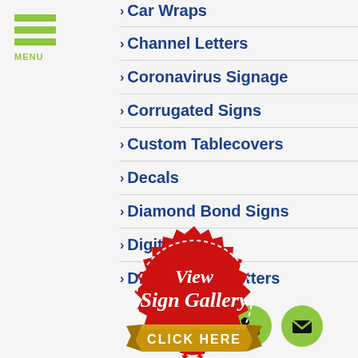[Figure (illustration): Hamburger menu icon with three green horizontal bars and MENU label below]
→ Car Wraps
→ Channel Letters
→ Coronavirus Signage
→ Corrugated Signs
→ Custom Tablecovers
→ Decals
→ Diamond Bond Signs
→ Digital Signs
→ Dimensional Letters
[Figure (illustration): Red badge/seal with white dashed border, text 'View Sign Gallery' in white italic, gold ribbon banner at bottom with 'CLICK HERE' text]
[Figure (illustration): Green circle phone icon button (bottom right area)]
[Figure (illustration): Green circle email/envelope icon button (bottom right corner)]